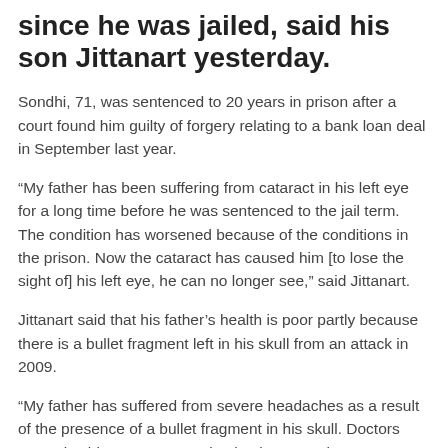since he was jailed, said his son Jittanart yesterday.
Sondhi, 71, was sentenced to 20 years in prison after a court found him guilty of forgery relating to a bank loan deal in September last year.
“My father has been suffering from cataract in his left eye for a long time before he was sentenced to the jail term. The condition has worsened because of the conditions in the prison. Now the cataract has caused him [to lose the sight of] his left eye, he can no longer see,” said Jittanart.
Jittanart said that his father’s health is poor partly because there is a bullet fragment left in his skull from an attack in 2009.
“My father has suffered from severe headaches as a result of the presence of a bullet fragment in his skull. Doctors can’t give him an MRI examination because the